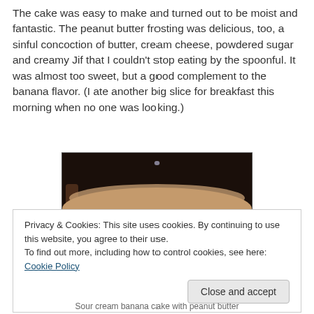The cake was easy to make and turned out to be moist and fantastic. The peanut butter frosting was delicious, too, a sinful concoction of butter, cream cheese, powdered sugar and creamy Jif that I couldn't stop eating by the spoonful. It was almost too sweet, but a good complement to the banana flavor. (I ate another big slice for breakfast this morning when no one was looking.)
[Figure (photo): A frosted cake photographed from above in a dark setting, showing a round cake with pale tan/peanut butter colored frosting on top.]
Privacy & Cookies: This site uses cookies. By continuing to use this website, you agree to their use.
To find out more, including how to control cookies, see here: Cookie Policy
Sour cream banana cake with peanut butter